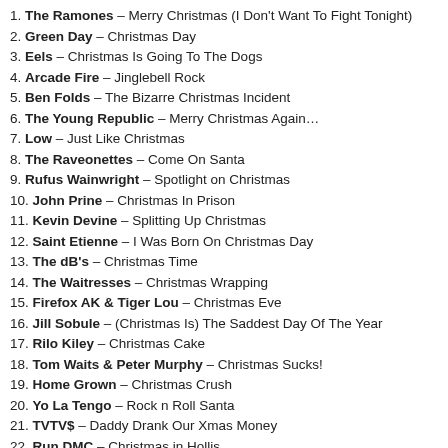1. The Ramones – Merry Christmas (I Don't Want To Fight Tonight)
2. Green Day – Christmas Day
3. Eels – Christmas Is Going To The Dogs
4. Arcade Fire – Jinglebell Rock
5. Ben Folds – The Bizarre Christmas Incident
6. The Young Republic – Merry Christmas Again…
7. Low – Just Like Christmas
8. The Raveonettes – Come On Santa
9. Rufus Wainwright – Spotlight on Christmas
10. John Prine – Christmas In Prison
11. Kevin Devine – Splitting Up Christmas
12. Saint Etienne – I Was Born On Christmas Day
13. The dB's – Christmas Time
14. The Waitresses – Christmas Wrapping
15. Firefox AK & Tiger Lou – Christmas Eve
16. Jill Sobule – (Christmas Is) The Saddest Day Of The Year
17. Rilo Kiley – Christmas Cake
18. Tom Waits & Peter Murphy – Christmas Sucks!
19. Home Grown – Christmas Crush
20. Yo La Tengo – Rock n Roll Santa
21. TVTV$ – Daddy Drank Our Xmas Money
22. Run DMC – Christmas in Hollis
23. Bootsy Collins – Santa's Coming
24. Mr. Lif – Santa's Got A Muthafuckin' Uzi
GET IT!